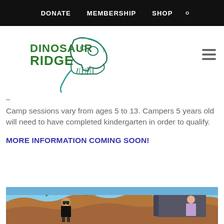DONATE   MEMBERSHIP   SHOP
[Figure (logo): Dinosaur Ridge logo with dinosaur skull and text]
–
Camp sessions vary from ages 5 to 13. Campers 5 years old will need to have completed kindergarten in order to qualify.
MORE INFORMATION COMING SOON!
[Figure (photo): Photo of a person with hat examining rocks outdoors at Dinosaur Ridge site, with another person visible on the right]